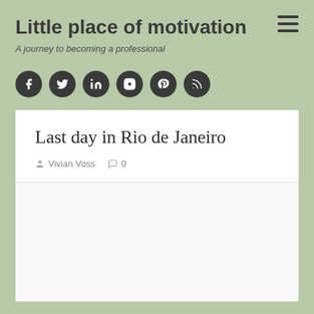Little place of motivation
A journey to becoming a professional
[Figure (infographic): Row of 6 social media icons (Facebook, Twitter, LinkedIn, Instagram, Pinterest, RSS) as dark circular buttons]
Last day in Rio de Janeiro
Vivian Voss  0